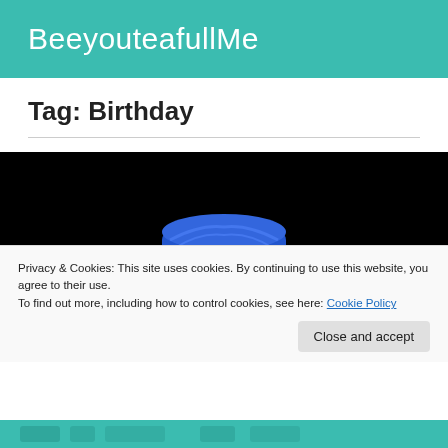BeeyouteafullMe
Tag: Birthday
[Figure (photo): Close-up portrait of a man wearing a blue traditional cap against a black background]
Privacy & Cookies: This site uses cookies. By continuing to use this website, you agree to their use.
To find out more, including how to control cookies, see here: Cookie Policy